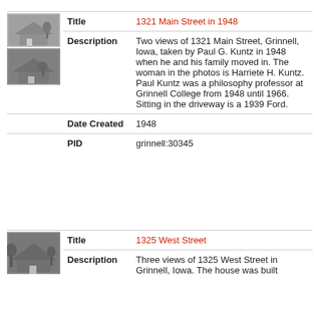[Figure (photo): Two small black and white thumbnail photos of a house at 1321 Main Street]
| Field | Value |
| --- | --- |
| Title | 1321 Main Street in 1948 |
| Description | Two views of 1321 Main Street, Grinnell, Iowa, taken by Paul G. Kuntz in 1948 when he and his family moved in. The woman in the photos is Harriete H. Kuntz. Paul Kuntz was a philosophy professor at Grinnell College from 1948 until 1966. Sitting in the driveway is a 1939 Ford. |
| Date Created | 1948 |
| PID | grinnell:30345 |
[Figure (photo): Small black and white thumbnail photo of a house at 1325 West Street]
| Field | Value |
| --- | --- |
| Title | 1325 West Street |
| Description | Three views of 1325 West Street in Grinnell, Iowa. The house was built |